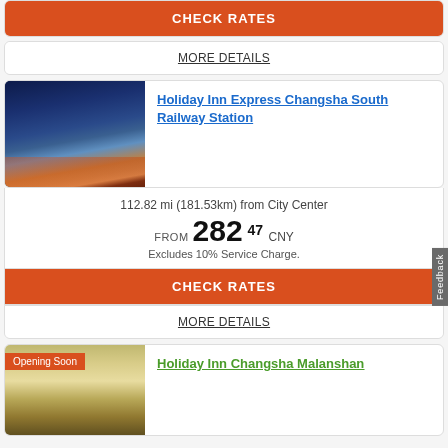CHECK RATES
MORE DETAILS
[Figure (photo): Night cityscape photo of Holiday Inn Express Changsha South Railway Station with illuminated skyscrapers against blue sky]
Holiday Inn Express Changsha South Railway Station
112.82 mi (181.53km) from City Center
FROM 282 47 CNY Excludes 10% Service Charge.
CHECK RATES
MORE DETAILS
[Figure (photo): Lobby interior photo of Holiday Inn Changsha Malanshan with chandelier lighting, with Opening Soon badge overlay]
Holiday Inn Changsha Malanshan